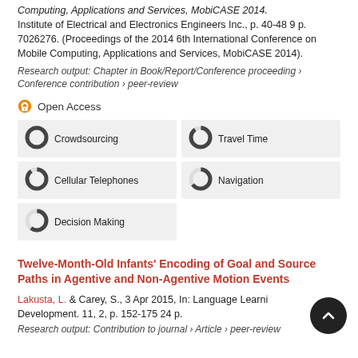Computing, Applications and Services, MobiCASE 2014. Institute of Electrical and Electronics Engineers Inc., p. 40-48 9 p. 7026276. (Proceedings of the 2014 6th International Conference on Mobile Computing, Applications and Services, MobiCASE 2014).
Research output: Chapter in Book/Report/Conference proceeding › Conference contribution › peer-review
Open Access
| 100% Crowdsourcing | 90% Travel Time |
| 90% Cellular Telephones | 65% Navigation |
| 60% Decision Making |  |
Twelve-Month-Old Infants' Encoding of Goal and Source Paths in Agentive and Non-Agentive Motion Events
Lakusta, L. & Carey, S., 3 Apr 2015, In: Language Learning and Development. 11, 2, p. 152-175 24 p.
Research output: Contribution to journal › Article › peer-review